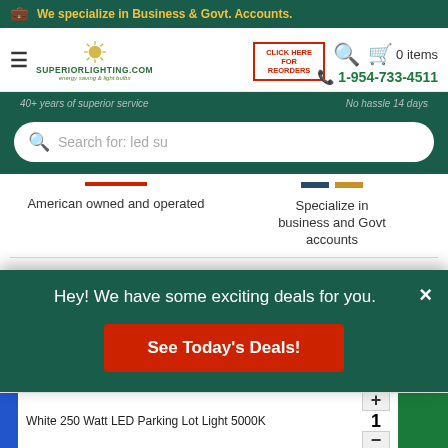We specialize in Business & Govt. Accounts.
[Figure (screenshot): Superior Lighting .com navigation bar with hamburger menu, logo, reorder button, search icon, cart (0 items), and phone number 1-954-733-4511]
40+ years of superior service   No hassle 14 days
Search for: led su
American owned and operated
Specialize in business and Govt accounts
Hey! We have some exciting deals for you.
See Today's Deals!
1
White 250 Watt LED Parking Lot Light 5000K